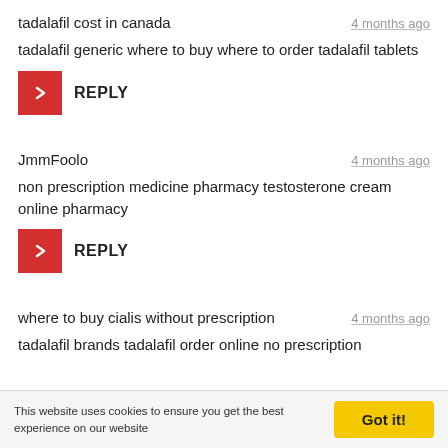tadalafil cost in canada
tadalafil generic where to buy where to order tadalafil tablets
REPLY
JmmFoolo
non prescription medicine pharmacy testosterone cream online pharmacy
REPLY
where to buy cialis without prescription
tadalafil brands tadalafil order online no prescription
This website uses cookies to ensure you get the best experience on our website